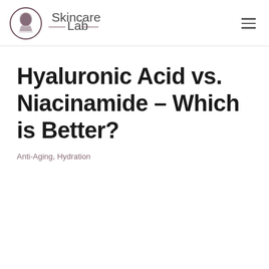Skincare Lab
Hyaluronic Acid vs. Niacinamide – Which is Better?
Anti-Aging, Hydration